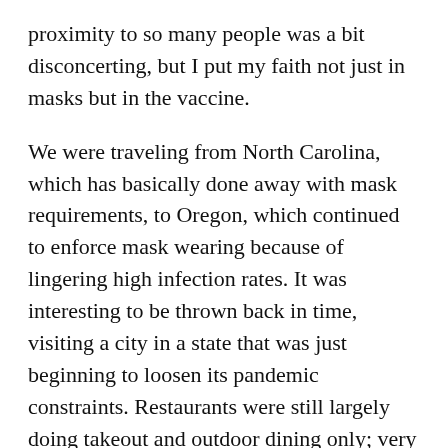proximity to so many people was a bit disconcerting, but I put my faith not just in masks but in the vaccine.
We were traveling from North Carolina, which has basically done away with mask requirements, to Oregon, which continued to enforce mask wearing because of lingering high infection rates. It was interesting to be thrown back in time, visiting a city in a state that was just beginning to loosen its pandemic constraints. Restaurants were still largely doing takeout and outdoor dining only; very few restaurants had socially distanced indoor dining available. The signs posted on doors of restaurants and stores varied. Some read "Masks required," while others stated, "Masks required if you are not fully vaccinated." I saw